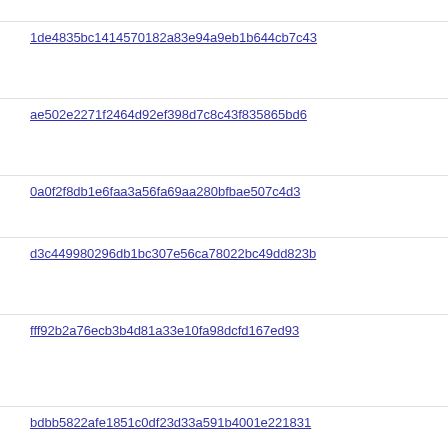wrong...
1de4835bc1414570182a83e94a9eb1b644cb7c43 | Iris Hs... 90c67... platfo...
ae502e2271f2464d92ef398d7c8c43f835865bd6 | Eddy ... C++ in... r=fitzg...
0a0f2f8db1e6faa3a56fa69aa280bfbae507c4d3 | Iris Hs... 79b1b...
d3c449980296db1bc307e56ca78022bc49dd823b | Iris Hs... ba6b7... platfo...
fff92b2a76ecb3b4d81a33e10fa98dcfd167ed93 | Nicola... clips v... Canva... r=bas...
bdbb5822afe1851c0df23d33a591b4001e221831 | Jon C... mode...
904a6eb36f1ba6d8d1d79f445f25d6eeef021688 | Eddy ... Debug... metho...
1e55eeb2395e3255816a94f4f50f4e291c7394d8 | Till Sc... handle... promi... js::En...
79b1ba1f1f4bcc68801315438fa632e6c916549e | Andre... WebS... uses b... wrong...
37e93e7e3771ffe469e1f50f819d331dfd52077e | Iris H...